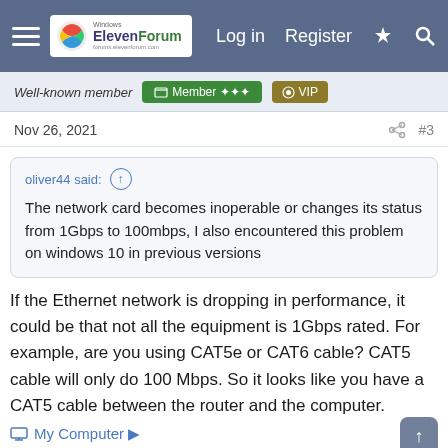Windows ElevenForum — Log in  Register
Well-known member  Member  VIP
Nov 26, 2021   #3
oliver44 said: ↑
The network card becomes inoperable or changes its status from 1Gbps to 100mbps, I also encountered this problem on windows 10 in previous versions
If the Ethernet network is dropping in performance, it could be that not all the equipment is 1Gbps rated. For example, are you using CAT5e or CAT6 cable? CAT5 cable will only do 100 Mbps. So it looks like you have a CAT5 cable between the router and the computer.
My Computer ▶